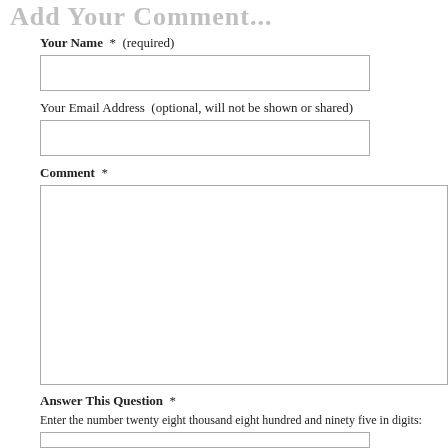Add Your Comment...
Your Name  *  (required)
[Figure (other): Text input box for Your Name field]
Your Email Address  (optional, will not be shown or shared)
[Figure (other): Text input box for Your Email Address field]
Comment  *
[Figure (other): Large textarea for Comment field]
Answer This Question  *
Enter the number twenty eight thousand eight hundred and ninety five in digits:
[Figure (other): Text input box for answer]